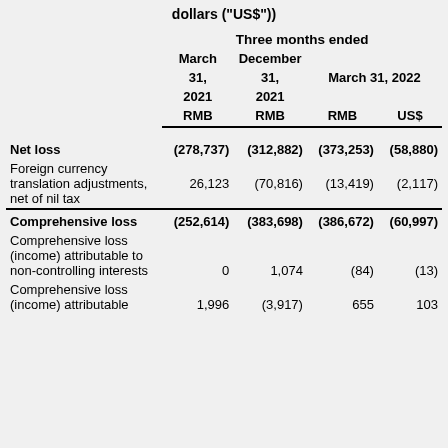dollars ("US$"))
|  | Three months ended
March 31, 2021 RMB | Three months ended
December 31, 2021 RMB | Three months ended
March 31, 2022 RMB | Three months ended
March 31, 2022 US$ |
| --- | --- | --- | --- | --- |
| Net loss | (278,737) | (312,882) | (373,253) | (58,880) |
| Foreign currency translation adjustments, net of nil tax | 26,123 | (70,816) | (13,419) | (2,117) |
| Comprehensive loss | (252,614) | (383,698) | (386,672) | (60,997) |
| Comprehensive loss (income) attributable to non-controlling interests | 0 | 1,074 | (84) | (13) |
| Comprehensive loss (income) attributable | 1,996 | (3,917) | 655 | 103 |